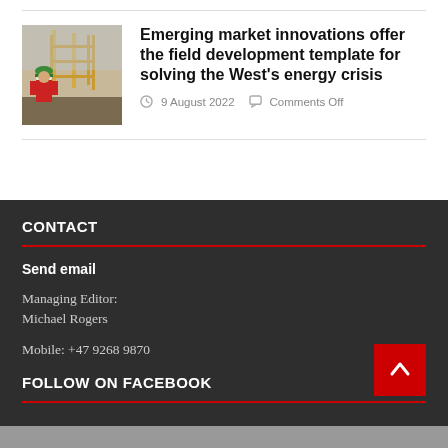[Figure (photo): Photo of an oil/gas field construction site with a worker in red overalls and green hard hat in the foreground, industrial structure in background]
Emerging market innovations offer the field development template for solving the West's energy crisis
9 August 2022   Comments Off
CONTACT
Send email
Managing Editor:
Michael Rogers
Mobile: +47 9268 9870
FOLLOW ON FACEBOOK